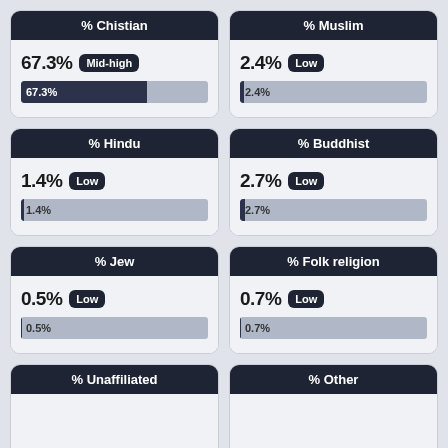[Figure (infographic): % Chistian]
[Figure (infographic): % Muslim]
[Figure (infographic): % Hindu]
[Figure (infographic): % Buddhist]
[Figure (infographic): % Jew]
[Figure (infographic): % Folk religion]
[Figure (infographic): % Unaffiliated]
[Figure (infographic): % Other]